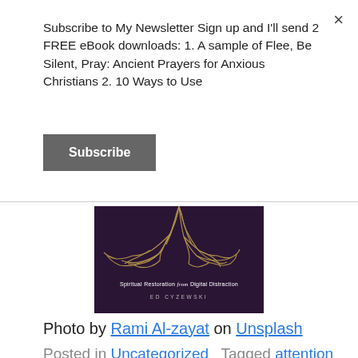Subscribe to My Newsletter Sign up and I'll send 2 FREE eBook downloads: 1. A sample of Flee, Be Silent, Pray: Ancient Prayers for Anxious Christians 2. 10 Ways to Use
Subscribe
[Figure (illustration): Book cover for 'Spiritual Restoration from Digital Distraction' by Ed Cyzewski on dark purple background with tree roots illustration]
Photo by Rami Al-zayat on Unsplash
Posted in Uncategorized   Tagged attention social media, can't focus during prayer,